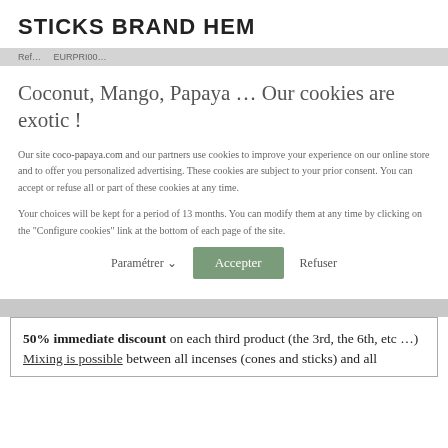STICKS BRAND HEM
Coconut, Mango, Papaya … Our cookies are exotic !
Our site coco-papaya.com and our partners use cookies to improve your experience on our online store and to offer you personalized advertising. These cookies are subject to your prior consent. You can accept or refuse all or part of these cookies at any time.
Your choices will be kept for a period of 13 months. You can modify them at any time by clicking on the "Configure cookies" link at the bottom of each page of the site.
Paramétrer  ∨    Accepter    Refuser
50% immediate discount on each third product (the 3rd, the 6th, etc …) Mixing is possible between all incenses (cones and sticks) and all